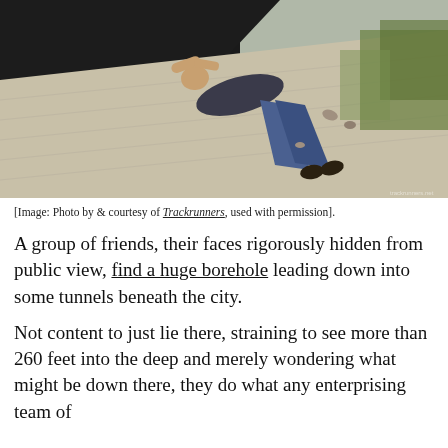[Figure (photo): A person lying face-down on a concrete or stone slope leading into a dark tunnel or borehole entrance, with rocky ground and vegetation visible.]
[Image: Photo by & courtesy of Trackrunners, used with permission].
A group of friends, their faces rigorously hidden from public view, find a huge borehole leading down into some tunnels beneath the city.
Not content to just lie there, straining to see more than 260 feet into the deep and merely wondering what might be down there, they do what any enterprising team of